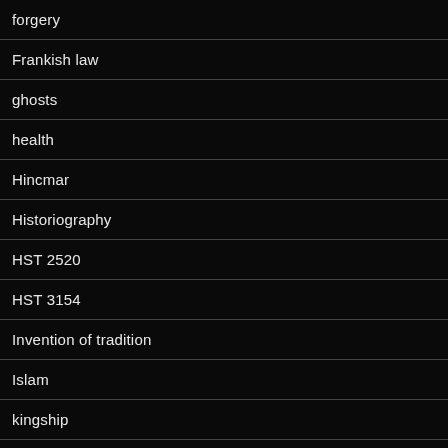forgery
Frankish law
ghosts
health
Hincmar
Historiography
HST 2520
HST 3154
Invention of tradition
Islam
kingship
Kulturkampf
Late Antiquity